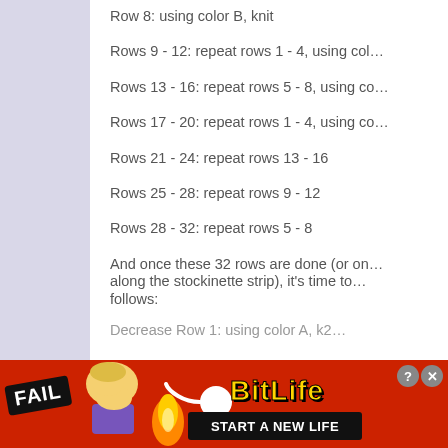Row 8: using color B, knit
Rows 9 - 12: repeat rows 1 - 4, using col…
Rows 13 - 16: repeat rows 5 - 8, using co…
Rows 17 - 20: repeat rows 1 - 4, using co…
Rows 21 - 24: repeat rows 13 - 16
Rows 25 - 28: repeat rows 9 - 12
Rows 28 - 32: repeat rows 5 - 8
And once these 32 rows are done (or on… along the stockinette strip), it's time to… follows:
Decrease Row 1: using color A, k2… (truncated)
[Figure (illustration): Advertisement banner for BitLife mobile game showing FAIL badge, animated character facepalming, fire graphics, BitLife logo with sperm icon, and 'START A NEW LIFE' button on red background]